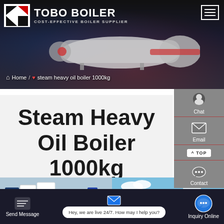[Figure (screenshot): Tobo Boiler website header with logo, hamburger menu, hero banner showing industrial boiler, and breadcrumb navigation reading Home / steam heavy oil boiler 1000kg]
Steam Heavy Oil Boiler 1000kg
[Figure (photo): Two product photos side by side: left shows blue and white industrial boiler units outdoors, right shows a white cylindrical boiler tank with blue sky background]
[Figure (screenshot): Bottom bar with Send Message button, live chat bubble saying Hey, we are live 24/7. How may I help you?, and Inquiry Online button]